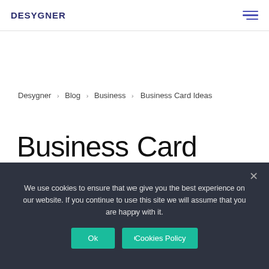DESYGNER
Desygner › Blog › Business › Business Card Ideas
Business Card Ideas
March 2, 2021
We use cookies to ensure that we give you the best experience on our website. If you continue to use this site we will assume that you are happy with it.